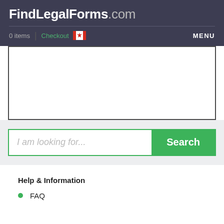FindLegalForms.com
0 items | Checkout [Canadian flag] MENU
[Figure (other): White content area with dark border, representing an advertisement or empty content block]
I am looking for... Search
Help & Information
FAQ